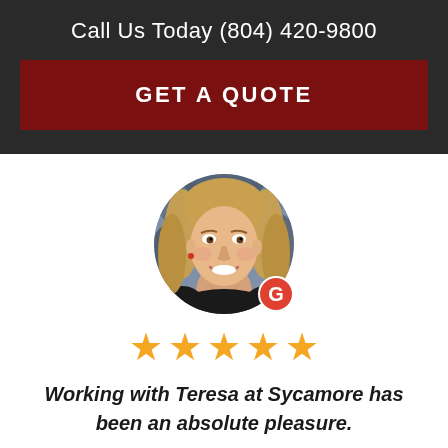Call Us Today (804) 420-9800
GET A QUOTE
[Figure (photo): Circular profile photo of a smiling young woman with blonde hair wearing a black top, with a red Google 'G' badge in the lower right]
★★★★★ (five gold stars)
Working with Teresa at Sycamore has been an absolute pleasure.